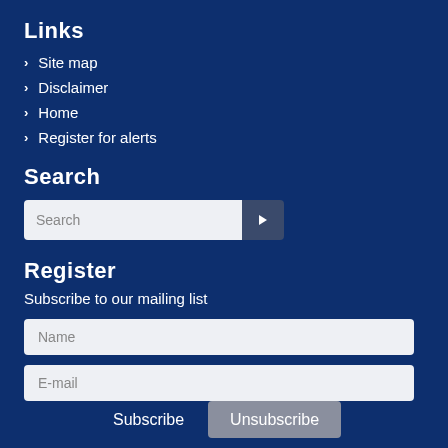Links
Site map
Disclaimer
Home
Register for alerts
Search
Register
Subscribe to our mailing list
Name
E-mail
Subscribe
Unsubscribe